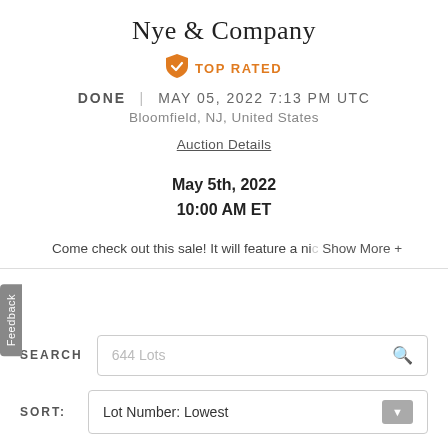Nye & Company
[Figure (infographic): Orange shield checkmark icon with TOP RATED text in orange]
DONE | MAY 05, 2022 7:13 PM UTC
Bloomfield, NJ, United States
Auction Details
May 5th, 2022
10:00 AM ET
Come check out this sale! It will feature a nic  Show More +
SEARCH  644 Lots
SORT:  Lot Number: Lowest